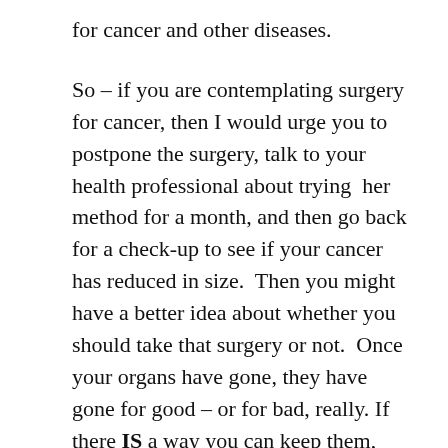for cancer and other diseases.
So – if you are contemplating surgery for cancer, then I would urge you to postpone the surgery, talk to your health professional about trying  her method for a month, and then go back for a check-up to see if your cancer has reduced in size.  Then you might have a better idea about whether you should take that surgery or not.  Once your organs have gone, they have gone for good – or for bad, really. If there IS a way you can keep them, why not put in the time and effort to give it a go?
Quite recently, my sister's friend was diagnosed with optic nerve cancer. She was told